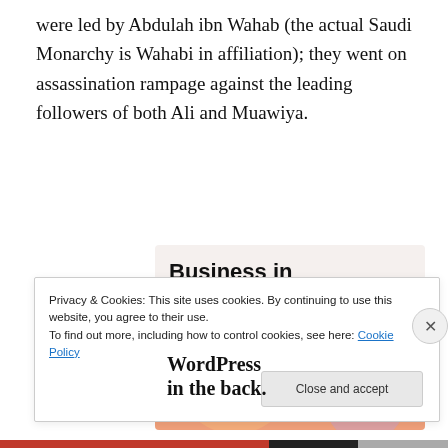were led by Abdulah ibn Wahab (the actual Saudi Monarchy is Wahabi in affiliation); they went on assassination rampage against the leading followers of both Ali and Muawiya.
[Figure (screenshot): Advertisement banner showing 'Business in the front...' text on a light background, and 'WordPress in the back.' text on an orange/peach gradient background with decorative circles.]
Privacy & Cookies: This site uses cookies. By continuing to use this website, you agree to their use.
To find out more, including how to control cookies, see here: Cookie Policy

Close and accept